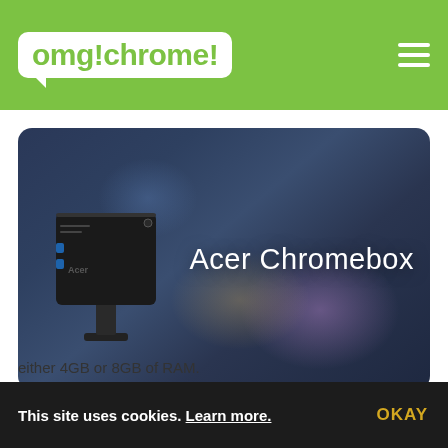omg!chrome!
[Figure (screenshot): Acer Chromebox product image with dark blue-purple bokeh background, a black mini PC device on the left, and white text reading 'Acer Chromebox' on the right]
Acer Outs Powerful New Chromebox With Intel Core i3, 8GB RAM
either 4GB or 8GB of RAM.
This site uses cookies. Learn more. OKAY